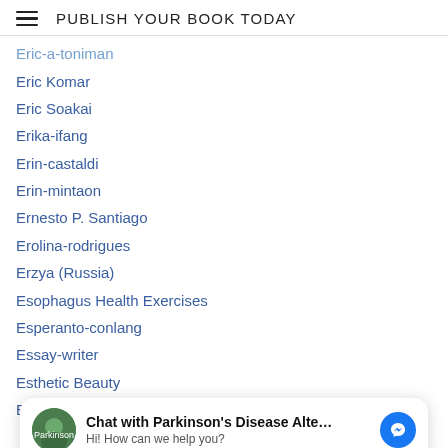PUBLISH YOUR BOOK TODAY
Eric-a-toniman
Eric Komar
Eric Soakai
Erika-ifang
Erin-castaldi
Erin-mintaon
Ernesto P. Santiago
Erolina-rodrigues
Erzya (Russia)
Esophagus Health Exercises
Esperanto-conlang
Essay-writer
Esthetic Beauty
Euclea-tree
[Figure (screenshot): Chat widget: Chat with Parkinson's Disease Alte... Hi! How can we help you? with Messenger icon]
European Languages
European Parkinson's Disease Association (EPDA)